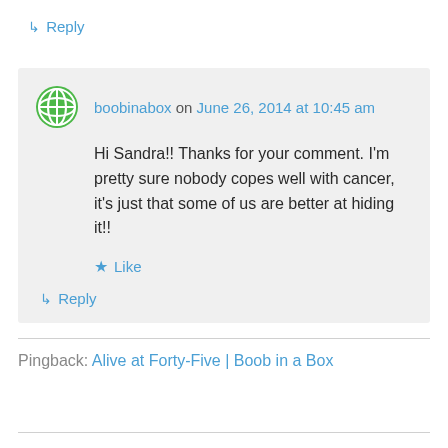↳ Reply
boobinabox on June 26, 2014 at 10:45 am
Hi Sandra!! Thanks for your comment. I'm pretty sure nobody copes well with cancer, it's just that some of us are better at hiding it!!
★ Like
↳ Reply
Pingback: Alive at Forty-Five | Boob in a Box